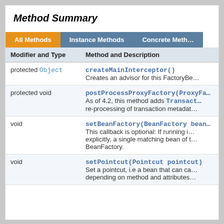Method Summary
| Modifier and Type | Method and Description |
| --- | --- |
| protected Object | createMainInterceptor()
Creates an advisor for this FactoryBe… |
| protected void | postProcessProxyFactory(ProxyFa…
As of 4.2, this method adds Transact… re-processing of transaction metadat… |
| void | setBeanFactory(BeanFactory bean…
This callback is optional: If running i… explicitly, a single matching bean of t… BeanFactory. |
| void | setPointcut(Pointcut pointcut)
Set a pointcut, i.e a bean that can ca… depending on method and attributes… |